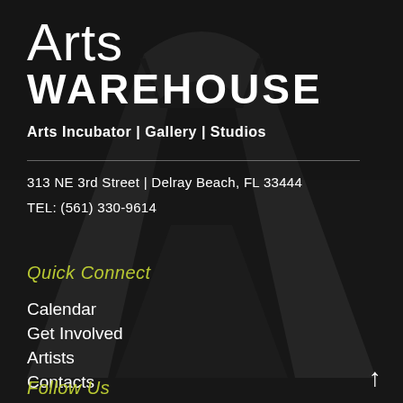[Figure (logo): Large dark stylized letter A watermark logo in background on dark textured background]
Arts WAREHOUSE
Arts Incubator | Gallery | Studios
313 NE 3rd Street | Delray Beach, FL 33444
TEL: (561) 330-9614
Quick Connect
Calendar
Get Involved
Artists
Contacts
Follow Us